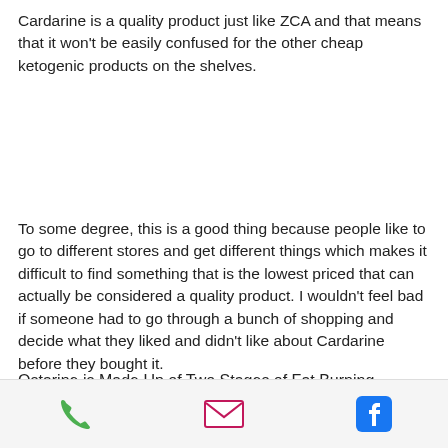Cardarine is a quality product just like ZCA and that means that it won't be easily confused for the other cheap ketogenic products on the shelves.
To some degree, this is a good thing because people like to go to different stores and get different things which makes it difficult to find something that is the lowest priced that can actually be considered a quality product. I wouldn't feel bad if someone had to go through a bunch of shopping and decide what they liked and didn't like about Cardarine before they bought it.
Ostarine is Made Up of Two Stages of Fat Burning
[Figure (infographic): Footer bar with three icons: a green phone icon, a magenta/pink envelope icon, and a blue Facebook icon]